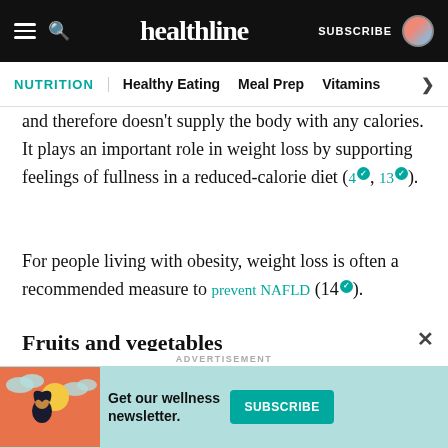healthline — NUTRITION | Healthy Eating | Meal Prep | Vitamins
and therefore doesn't supply the body with any calories. It plays an important role in weight loss by supporting feelings of fullness in a reduced-calorie diet (4, 13).
For people living with obesity, weight loss is often a recommended measure to prevent NAFLD (14).
Fruits and vegetables
Fruits and vegetables are nutrient-dense foods,
[Figure (other): Advertisement banner with illustrated woman, teal background, 'Get our wellness newsletter.' text and SUBSCRIBE button]